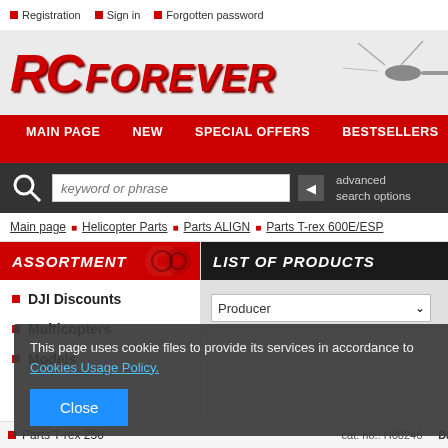Registration | Sign in | Forgotten password
[Figure (logo): RC Forever logo in red italic bold text with a helicopter image on the right]
MAIN PAGE | NEW | SPECIAL OFFERS | BESTSELLERS
keyword or phrase - search input with advanced search options
Main page > Helicopter Parts > Parts ALIGN > Parts T-rex 600E/ESP
ASSORTMENT
LIST OF PRODUCTS
DJI Discounts
Multicopters
Models
Producer (dropdown)
This page uses cookie files to provide its services in accordance to Cookies Usage Policy.
Close (button)
Parts T-rex 250
cat. no.: H60246